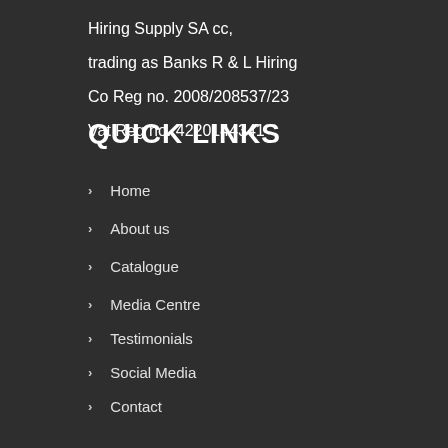Hiring Supply SA cc, trading as Banks R & L Hiring Co Reg no. 2008/208537/23 Vat Reg no. 4220144341
QUICK LINKS
Home
About us
Catalogue
Media Centre
Testimonials
Social Media
Contact
My account
Terms & Conditions
Privacy Policy